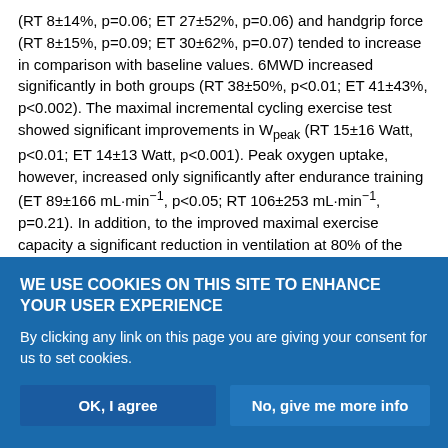(RT 8±14%, p=0.06; ET 27±52%, p=0.06) and handgrip force (RT 8±15%, p=0.09; ET 30±62%, p=0.07) tended to increase in comparison with baseline values. 6MWD increased significantly in both groups (RT 38±50%, p<0.01; ET 41±43%, p<0.002). The maximal incremental cycling exercise test showed significant improvements in Wpeak (RT 15±16 Watt, p<0.01; ET 14±13 Watt, p<0.001). Peak oxygen uptake, however, increased only significantly after endurance training (ET 89±166 mL·min⁻¹, p<0.05; RT 106±253 mL·min⁻¹, p=0.21). In addition, to the improved maximal exercise capacity a significant reduction in ventilation at 80% of the initial peak oxygen uptake was found (RT −3±4 L·min⁻¹, p=0.04; ET
WE USE COOKIES ON THIS SITE TO ENHANCE YOUR USER EXPERIENCE
By clicking any link on this page you are giving your consent for us to set cookies.
OK, I agree
No, give me more info